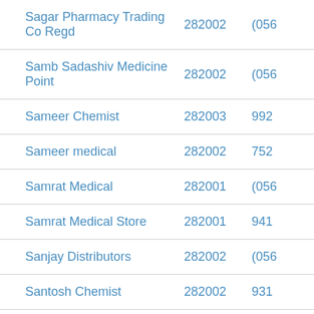| Name | PIN | Phone |
| --- | --- | --- |
| Sagar Pharmacy Trading Co Regd | 282002 | (056… |
| Samb Sadashiv Medicine Point | 282002 | (056… |
| Sameer Chemist | 282003 | 992… |
| Sameer medical | 282002 | 752… |
| Samrat Medical | 282001 | (056… |
| Samrat Medical Store | 282001 | 941… |
| Sanjay Distributors | 282002 | (056… |
| Santosh Chemist | 282002 | 931… |
| Sapna Medical Store | 282010 | (056… |
| Sapna Medical Store | 282010 | 989… |
| Saraswat Medical Store | 282001 | (056… |
| Saraswat medical store | 282003 | 897… |